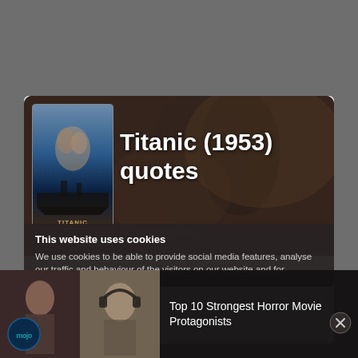[Figure (screenshot): Screenshot of a webpage showing Titanic (1953) quotes page with a movie banner featuring the Titanic movie poster and couple silhouette, overlaid by a cookie consent banner, and a bottom video recommendation bar showing Top 10 Strongest Horror Movie Protagonists with WatchMojo logo]
Titanic (1953) quotes
This website uses cookies
We use cookies to be able to provide social media features, analyse our traffic and behaviour of the visitors on our website and for
Top 10 Strongest Horror Movie Protagonists